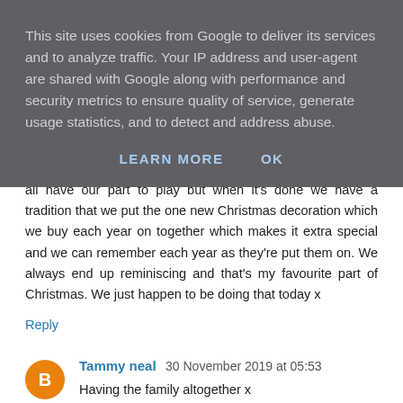This site uses cookies from Google to deliver its services and to analyze traffic. Your IP address and user-agent are shared with Google along with performance and security metrics to ensure quality of service, generate usage statistics, and to detect and address abuse.
LEARN MORE    OK
all have our part to play but when it's done we have a tradition that we put the one new Christmas decoration which we buy each year on together which makes it extra special and we can remember each year as they're put them on. We always end up reminiscing and that's my favourite part of Christmas. We just happen to be doing that today x
Reply
Tammy neal  30 November 2019 at 05:53
Having the family altogether x
Reply